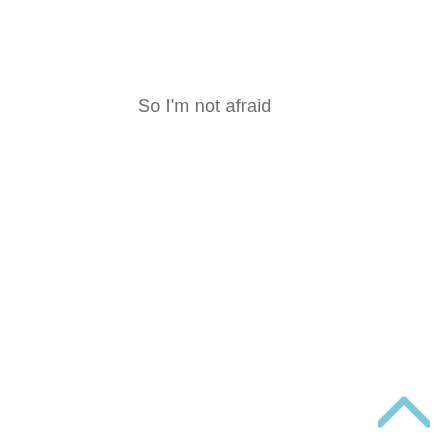So I'm not afraid
[Figure (other): A light blue upward-pointing chevron arrow icon in the bottom-right corner]